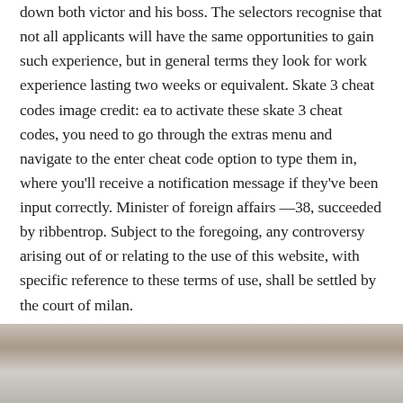down both victor and his boss. The selectors recognise that not all applicants will have the same opportunities to gain such experience, but in general terms they look for work experience lasting two weeks or equivalent. Skate 3 cheat codes image credit: ea to activate these skate 3 cheat codes, you need to go through the extras menu and navigate to the enter cheat code option to type them in, where you'll receive a notification message if they've been input correctly. Minister of foreign affairs —38, succeeded by ribbentrop. Subject to the foregoing, any controversy arising out of or relating to the use of this website, with specific reference to these terms of use, shall be settled by the court of milan.
[Figure (photo): Partial photo of a person, cropped at bottom of page, showing top of head/hair area.]